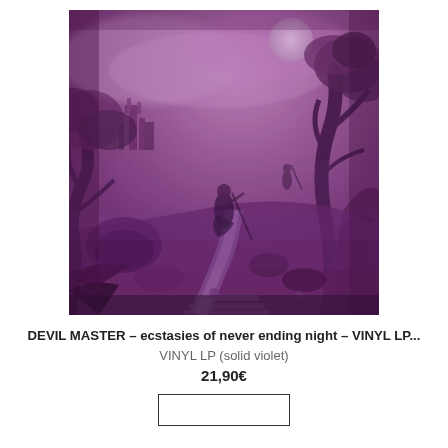[Figure (illustration): Album cover art for Devil Master – ecstasies of never ending night. A dark fantasy/gothic landscape rendered in purple/violet monochrome tones. Scene depicts a robed figure walking along a stone path through a mystical forest with twisted trees, rocky outcroppings, a castle in the background, and a large moon in the sky. Dense foliage and atmospheric mist fill the scene.]
DEVIL MASTER – ecstasies of never ending night – VINYL LP...
VINYL LP (solid violet)
21,90€